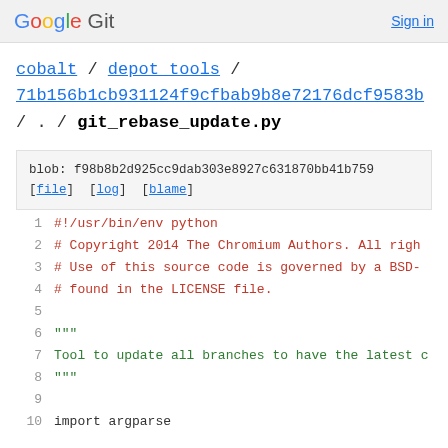Google Git   Sign in
cobalt / depot_tools / 71b156b1cb931124f9cfbab9b8e72176dcf9583b / . / git_rebase_update.py
blob: f98b8b2d925cc9dab303e8927c631870bb41b759 [file] [log] [blame]
1  #!/usr/bin/env python
2  # Copyright 2014 The Chromium Authors. All righ
3  # Use of this source code is governed by a BSD-
4  # found in the LICENSE file.
5  
6  """
7  Tool to update all branches to have the latest c
8  """
9  
10  import argparse